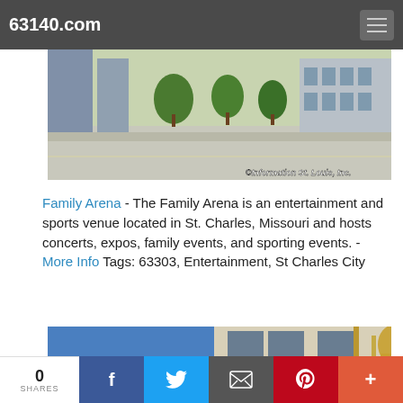63140.com
[Figure (photo): Outdoor photo of Family Arena parking lot with building and trees in background. Watermark: ©Information St. Louis, Inc.]
Family Arena - The Family Arena is an entertainment and sports venue located in St. Charles, Missouri and hosts concerts, expos, family events, and sporting events. - More Info Tags: 63303, Entertainment, St Charles City
[Figure (photo): Photo showing a building with golden decorative statue/angel detail against blue sky background.]
0 SHARES